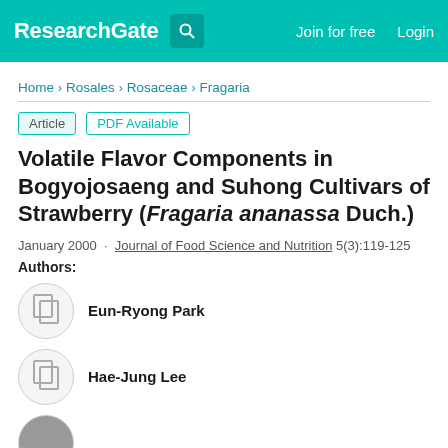ResearchGate   Join for free   Login
Home > Rosales > Rosaceae > Fragaria
Article   PDF Available
Volatile Flavor Components in Bogyojosaeng and Suhong Cultivars of Strawberry (Fragaria ananassa Duch.)
January 2000 . Journal of Food Science and Nutrition 5(3):119-125
Authors:
Eun-Ryong Park
Hae-Jung Lee